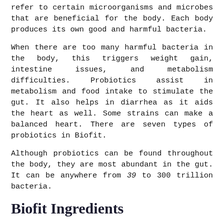refer to certain microorganisms and microbes that are beneficial for the body. Each body produces its own good and harmful bacteria.
When there are too many harmful bacteria in the body, this triggers weight gain, intestine issues, and metabolism difficulties. Probiotics assist in metabolism and food intake to stimulate the gut. It also helps in diarrhea as it aids the heart as well. Some strains can make a balanced heart. There are seven types of probiotics in Biofit.
Although probiotics can be found throughout the body, they are most abundant in the gut. It can be anywhere from 39 to 300 trillion bacteria.
Biofit Ingredients
Biofit supplements contain probiotics as the main ingredient. In it, they contain two groups typically: probiotic matrix, and